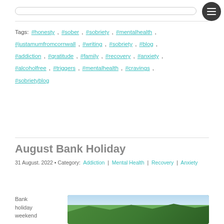Tags: #honesty , #sober , #sobriety , #mentalhealth , #justamumfromcornwall , #writing , #sobriety , #blog , #addiction , #gratitude , #family , #recovery , #anxiety , #alcoholfree , #triggers , #mentalhealth , #cravings , #sobrietyblog
August Bank Holiday
31 August. 2022 • Category: Addiction | Mental Health | Recovery | Anxiety
Bank holiday weekend
[Figure (photo): Photo of trees with green foliage against a bright sky, cropped at top of image]